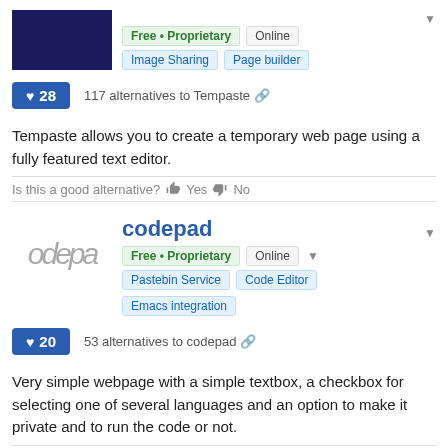[Figure (logo): Dark navy blue rectangle logo for Tempaste]
Free • Proprietary   Online
Image Sharing   Page builder
♥ 28
117 alternatives to Tempaste
Tempaste allows you to create a temporary web page using a fully featured text editor.
Is this a good alternative? Yes   No
[Figure (logo): Codepad logo with grey italic text 'odepa']
codepad
Free • Proprietary   Online
Pastebin Service   Code Editor   Emacs integration
♥ 20
53 alternatives to codepad
Very simple webpage with a simple textbox, a checkbox for selecting one of several languages and an option to make it private and to run the code or not.
Is this a good alternative? Yes   No